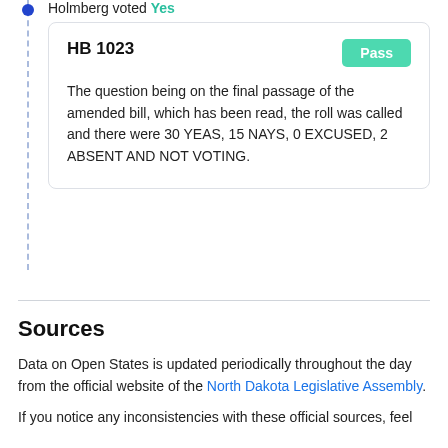Holmberg voted Yes
HB 1023 — Pass
The question being on the final passage of the amended bill, which has been read, the roll was called and there were 30 YEAS, 15 NAYS, 0 EXCUSED, 2 ABSENT AND NOT VOTING.
Sources
Data on Open States is updated periodically throughout the day from the official website of the North Dakota Legislative Assembly.
If you notice any inconsistencies with these official sources, feel